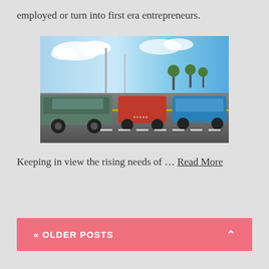employed or turn into first era entrepreneurs.
[Figure (photo): A busy parking lot filled with various cars under a partly cloudy blue sky, with trees visible in the background.]
Keeping in view the rising needs of … Read More
« OLDER POSTS